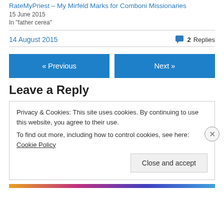RateMyPriest – My Mirfeld Marks for Comboni Missionaries
15 June 2015
In "father cerea"
14 August 2015
2 Replies
« Previous
Next »
Leave a Reply
Privacy & Cookies: This site uses cookies. By continuing to use this website, you agree to their use. To find out more, including how to control cookies, see here: Cookie Policy
Close and accept